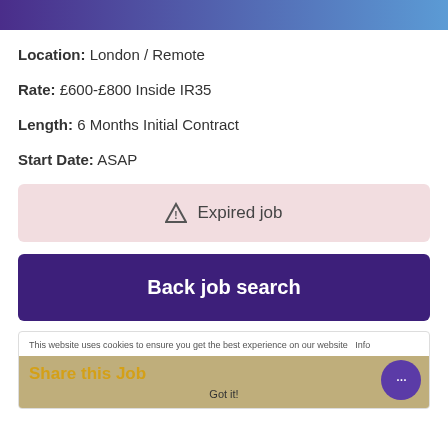Location: London / Remote
Rate: £600-£800 Inside IR35
Length: 6 Months Initial Contract
Start Date: ASAP
⚠ Expired job
Back job search
This website uses cookies to ensure you get the best experience on our website
Share this Job
Got it!